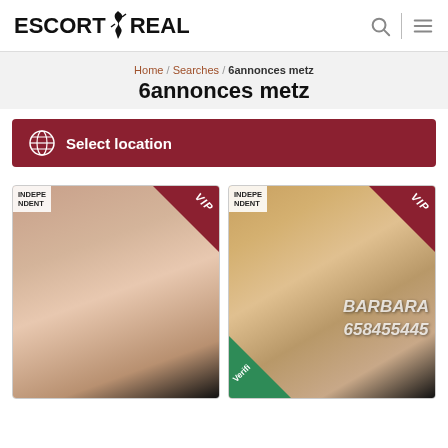ESCORT REAL
Home / Searches / 6annonces metz
6annonces metz
Select location
[Figure (photo): Escort listing card 1 - INDEPENDENT / VIP badge, close-up photo]
[Figure (photo): Escort listing card 2 - BARBARA 658455445, INDEPENDENT / VIP / Verified badges]